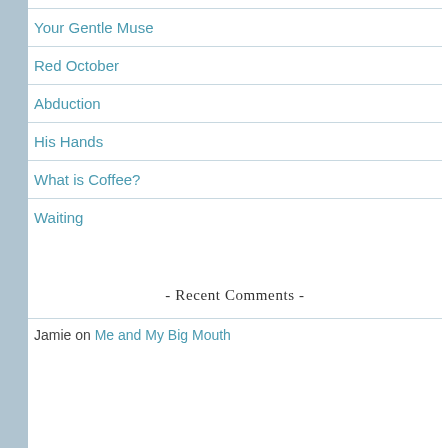Your Gentle Muse
Red October
Abduction
His Hands
What is Coffee?
Waiting
- Recent Comments -
Jamie on Me and My Big Mouth